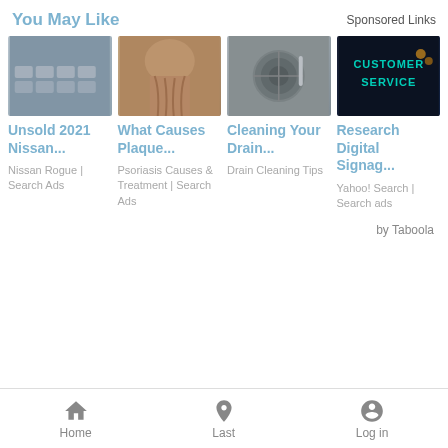You May Like
Sponsored Links
[Figure (photo): Unsold 2021 Nissan... - Photo of parking lot full of white cars]
Unsold 2021 Nissan...
Nissan Rogue | Search Ads
[Figure (photo): What Causes Plaque... - Photo of woman scratching her scalp/hair]
What Causes Plaque...
Psoriasis Causes & Treatment | Search Ads
[Figure (photo): Cleaning Your Drain... - Photo of drain with water and a spoon]
Cleaning Your Drain...
Drain Cleaning Tips
[Figure (photo): Research Digital Signag... - Photo of neon Customer Service sign]
Research Digital Signag...
Yahoo! Search | Search ads
by Taboola
Home   Last   Log in